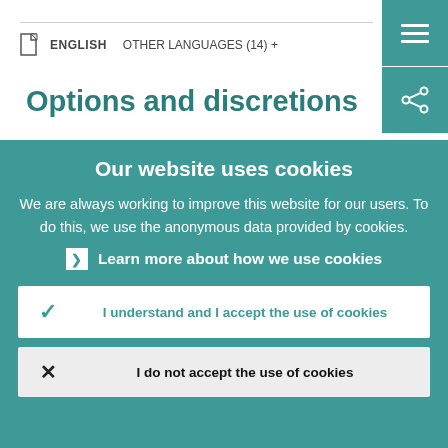ENGLISH   OTHER LANGUAGES (14) +
Options and discretions
Our website uses cookies
We are always working to improve this website for our users. To do this, we use the anonymous data provided by cookies.
Learn more about how we use cookies
I understand and I accept the use of cookies
I do not accept the use of cookies